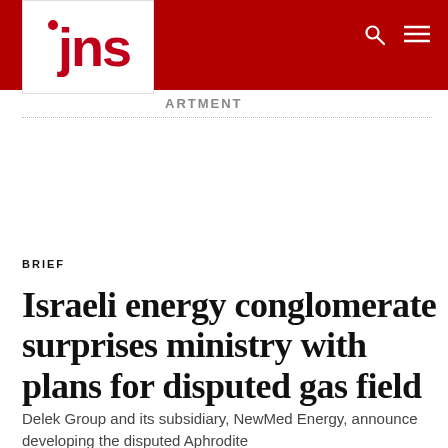[Figure (logo): JNS logo — red text on white background with red dot above j]
ARTMENT
BRIEF
Israeli energy conglomerate surprises ministry with plans for disputed gas field
Delek Group and its subsidiary, NewMed Energy, announce developing the disputed Aphrodite